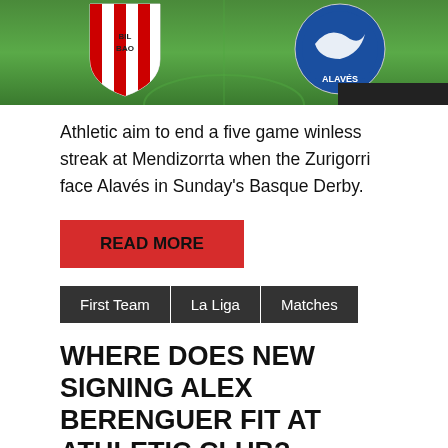[Figure (photo): Athletic Bilbao vs Deportivo Alavés matchup image showing club shields/badges on green football pitch background]
Athletic aim to end a five game winless streak at Mendizorrta when the Zurigorri face Alavés in Sunday's Basque Derby.
READ MORE
First Team
La Liga
Matches
WHERE DOES NEW SIGNING ALEX BERENGUER FIT AT ATHLETIC CLUB?
Posted on October 3, 2020 | by @InsideAthletic